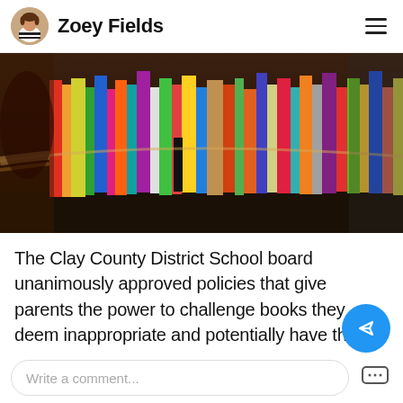Zoey Fields
[Figure (photo): A curved library bookshelf filled with colorful books, photographed from a low angle.]
The Clay County District School board unanimously approved policies that give parents the power to challenge books they deem inappropriate and potentially have them removed from library shelves. They can also determine which books their children can check out from the library.